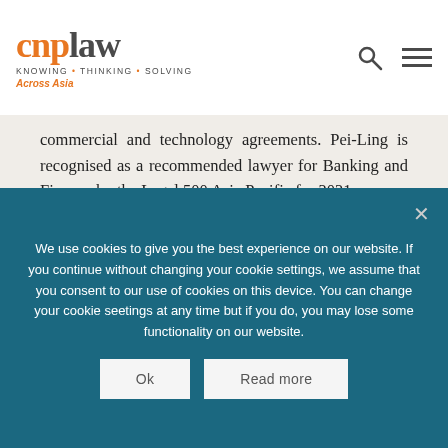[Figure (logo): CNP Law logo with tagline KNOWING • THINKING • SOLVING Across Asia]
commercial and technology agreements. Pei-Ling is recognised as a recommended lawyer for Banking and Finance by the Legal 500 Asia Pacific for 2021.
Find out more >>
We use cookies to give you the best experience on our website. If you continue without changing your cookie settings, we assume that you consent to our use of cookies on this device. You can change your cookie seetings at any time but if you do, you may lose some functionality on our website.